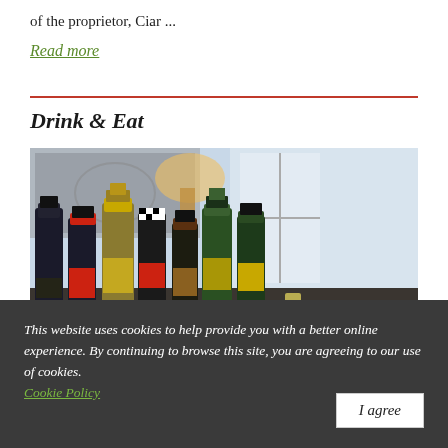of the proprietor, Ciar ...
Read more
Drink & Eat
[Figure (photo): A bar scene showing multiple wine and champagne bottles lined up, with glasses and a bright window/mirror in the background.]
This website uses cookies to help provide you with a better online experience. By continuing to browse this site, you are agreeing to our use of cookies. Cookie Policy
I agree